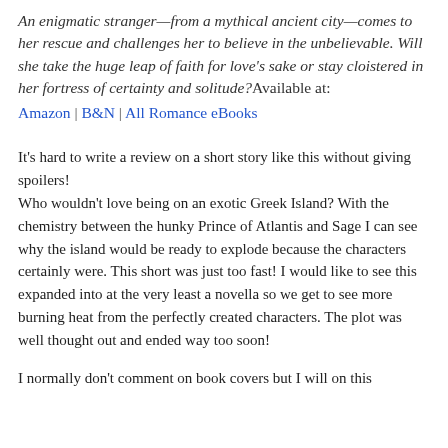An enigmatic stranger—from a mythical ancient city—comes to her rescue and challenges her to believe in the unbelievable. Will she take the huge leap of faith for love's sake or stay cloistered in her fortress of certainty and solitude? Available at:
Amazon | B&N | All Romance eBooks
It's hard to write a review on a short story like this without giving spoilers!
Who wouldn't love being on an exotic Greek Island? With the chemistry between the hunky Prince of Atlantis and Sage I can see why the island would be ready to explode because the characters certainly were. This short was just too fast! I would like to see this expanded into at the very least a novella so we get to see more burning heat from the perfectly created characters. The plot was well thought out and ended way too soon!
I normally don't comment on book covers but I will on this